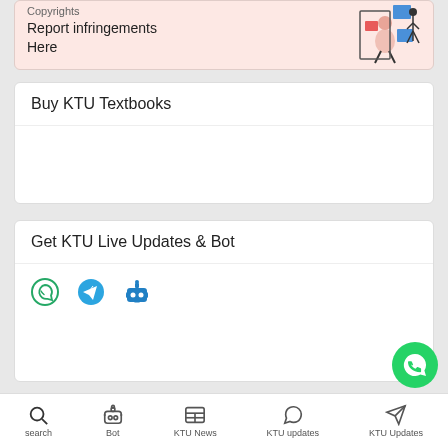[Figure (illustration): Pink banner with 'Copyrights' heading, 'Report infringements Here' text, and a stylized illustration of a person with geometric shapes]
Buy KTU Textbooks
Get KTU Live Updates & Bot
[Figure (infographic): Three social/bot icons: WhatsApp, Telegram, and a robot/bot icon in blue]
Facebook Like
[Figure (infographic): WhatsApp floating action button (green circle with white WhatsApp icon)]
search | Bot | KTU News | KTU updates | KTU Updates